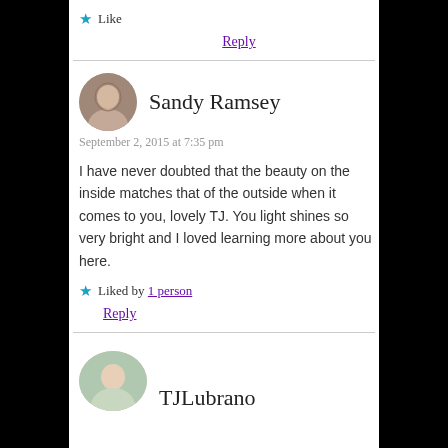Like
Reply
Sandy Ramsey
September 2, 2015 at 7:35 pm
I have never doubted that the beauty on the inside matches that of the outside when it comes to you, lovely TJ. You light shines so very bright and I loved learning more about you here.
Liked by 1 person
Reply
TJLubrano